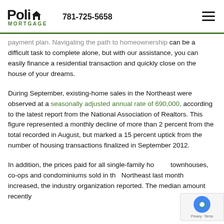Poli Mortgage | 781-725-5658
payment plan. Navigating the path to homeownership can be a difficult task to complete alone, but with our assistance, you can easily finance a residential transaction and quickly close on the house of your dreams.
During September, existing-home sales in the Northeast were observed at a seasonally adjusted annual rate of 690,000, according to the latest report from the National Association of Realtors. This figure represented a monthly decline of more than 2 percent from the total recorded in August, but marked a 15 percent uptick from the number of housing transactions finalized in September 2012.
In addition, the prices paid for all single-family homes, townhouses, co-ops and condominiums sold in the Northeast last month increased, the industry organization reported. The median amount recently